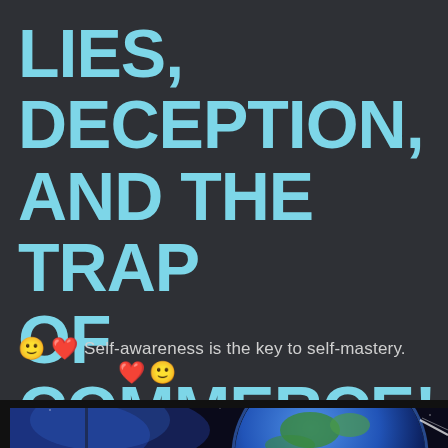LIES, DECEPTION, AND THE TRAP OF COMMERCE!
🙂 ❤ Self-awareness is the key to self-mastery. ❤ 🙂
[Figure (photo): Earth from space with blue nebula/galaxy background visible behind the globe, dark space setting, partial view cropped at bottom of page]